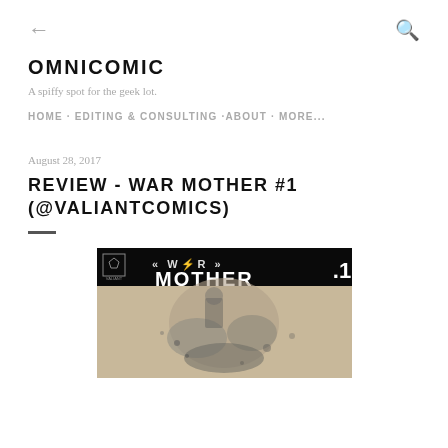← (back) | Q (search)
OMNICOMIC
A spiffy spot for the geek lot.
HOME · EDITING & CONSULTING ·ABOUT · MORE...
August 28, 2017
REVIEW - WAR MOTHER #1 (@VALIANTCOMICS)
[Figure (photo): Comic book cover for War Mother #1 by Valiant Comics. Black background with stylized title text 'WAR MOTHER' and issue number '1'. Shows an illustrated figure below the title text.]